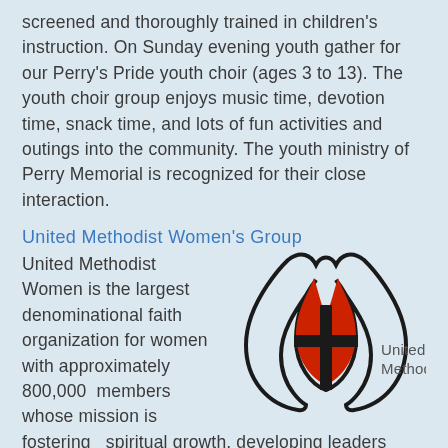screened and thoroughly trained in children's instruction. On Sunday evening youth gather for our Perry's Pride youth choir (ages 3 to 13).  The youth choir group enjoys music time, devotion time, snack time, and lots of fun activities and outings into the community.  The youth ministry of Perry Memorial is recognized for their close interaction.
United Methodist Women's Group
United Methodist Women is the largest denominational faith organization for women with approximately 800,000  members whose mission is fostering   spiritual growth, developing leaders and
[Figure (logo): United Methodist logo — flame and cross symbol with text 'United Methodist']